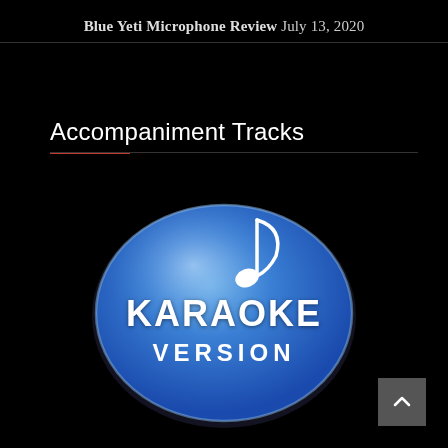Blue Yeti Microphone Review July 13, 2020
Accompaniment Tracks
[Figure (logo): Karaoke Version logo: blue oval with gradient, white music note, text KARAOKE VERSION in white bold letters]